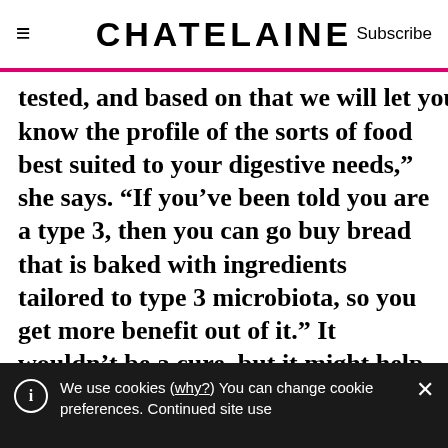CHATELAINE | Subscribe
tested, and based on that we will let you know the profile of the sorts of food best suited to your digestive needs,” she says. “If you’ve been told you are a type 3, then you can go buy bread that is baked with ingredients tailored to type 3 microbiota, so you get more benefit out of it.” It wouldn’t be a cure, but it might help.
She’s analyzed her own microbiota (she has robust populations of Adlercreutzia
We use cookies (why?) You can change cookie preferences. Continued site use